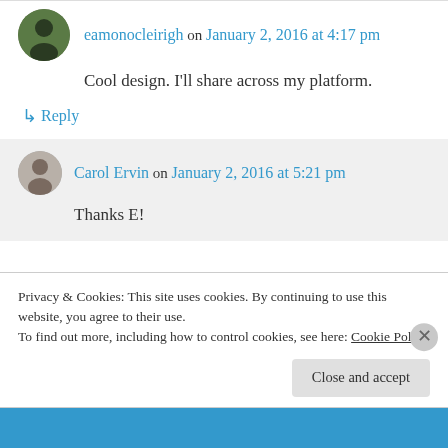eamonocleirigh on January 2, 2016 at 4:17 pm
Cool design. I'll share across my platform.
↳ Reply
Carol Ervin on January 2, 2016 at 5:21 pm
Thanks E!
Privacy & Cookies: This site uses cookies. By continuing to use this website, you agree to their use.
To find out more, including how to control cookies, see here: Cookie Policy
Close and accept